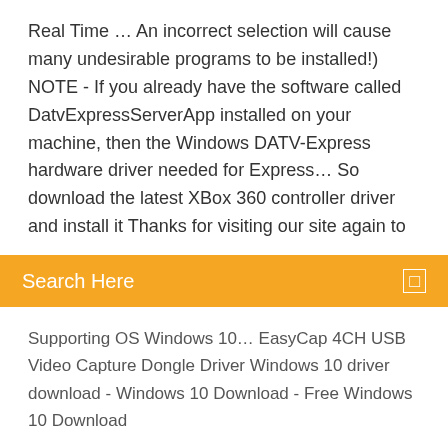Real Time … An incorrect selection will cause many undesirable programs to be installed!) NOTE - If you already have the software called DatvExpressServerApp installed on your machine, then the Windows DATV-Express hardware driver needed for Express… So download the latest XBox 360 controller driver and install it Thanks for visiting our site again to
[Figure (other): Orange search bar with text 'Search Here' and a small search icon on the right]
Supporting OS Windows 10… EasyCap 4CH USB Video Capture Dongle Driver Windows 10 driver download - Windows 10 Download - Free Windows 10 Download
EasyCap software (Ulead VideoStudio 10) and the latest 32bit and 64bit drivers for EasyCap DC60 and DC60+.Free download link for Ulead VideoStudio 10: http://adf.ly/1310198/ulead-videostudio-10The
1 Jun 2015 Below is a link to the Windows 7 drivers that were compatible with my EasyCAP device Easycap Driver for Win7